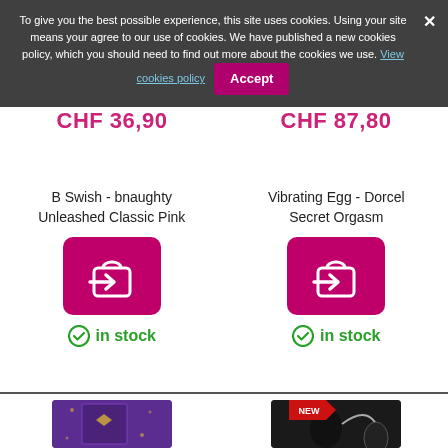To give you the best possible experience, this site uses cookies. Using your site means your agree to our use of cookies. We have published a new cookies policy, which you should need to find out more about the cookies we use. View cookies policy  Accept
CHF 36.90
CHF 87.80
B Swish - bnaughty Unleashed Classic Pink
Vibrating Egg - Dorcel Secret Orgasm
in stock
in stock
[Figure (photo): Bottom left: purple product box (Alexia brand vibrator)]
[Figure (photo): Bottom right: black vibrating egg product with red NEW badge]